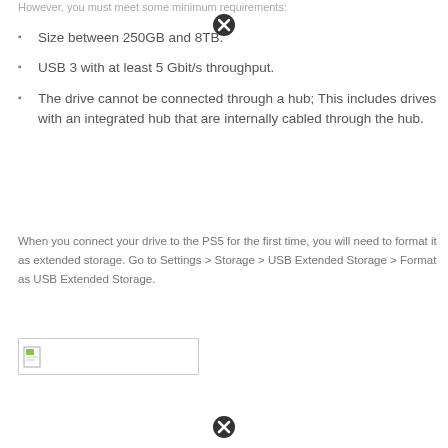However, you must meet some minimum requirements:
Size between 250GB and 8TB.
USB 3 with at least 5 Gbit/s throughput.
The drive cannot be connected through a hub; This includes drives with an integrated hub that are internally cabled through the hub.
When you connect your drive to the PS5 for the first time, you will need to format it as extended storage. Go to Settings > Storage > USB Extended Storage > Format as USB Extended Storage.
[Figure (illustration): Small document/image placeholder icon with a green rectangle thumbnail]